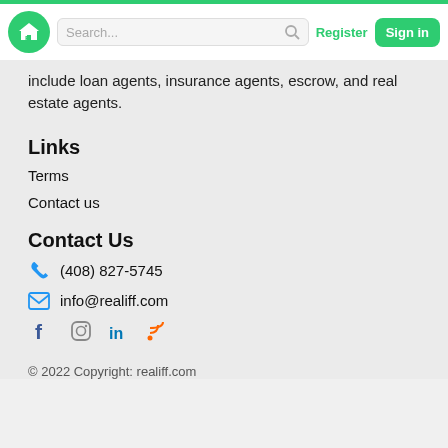Search... | Register | Sign in
include loan agents, insurance agents, escrow, and real estate agents.
Links
Terms
Contact us
Contact Us
(408) 827-5745
info@realiff.com
© 2022 Copyright: realiff.com